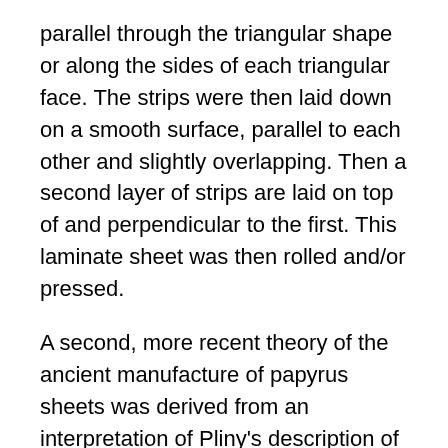parallel through the triangular shape or along the sides of each triangular face. The strips were then laid down on a smooth surface, parallel to each other and slightly overlapping. Then a second layer of strips are laid on top of and perpendicular to the first. This laminate sheet was then rolled and/or pressed.
A second, more recent theory of the ancient manufacture of papyrus sheets was derived from an interpretation of Pliny's description of the process. The pith was not cut into strips but was peeled continuously down to its core [Hendricks 1984, 31]. Two of these peeled layers were then pressed together perpendicular to each other to form a single sheet. According to Wallert, these different manufacturing processes